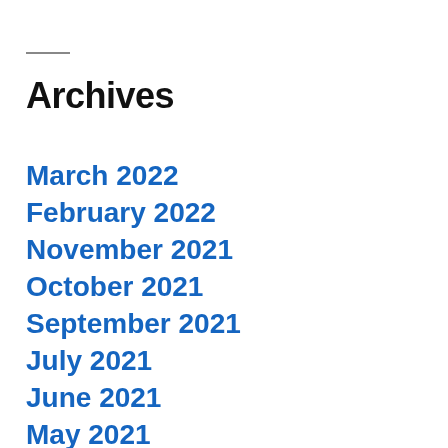Archives
March 2022
February 2022
November 2021
October 2021
September 2021
July 2021
June 2021
May 2021